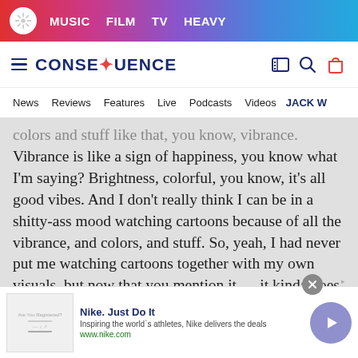MUSIC  FILM  TV  HEAVY
CONSEQUENCE
News  Reviews  Features  Live  Podcasts  Videos  JACK W
colors and stuff like that, you know, vibrance. Vibrance is like a sign of happiness, you know what I'm saying? Brightness, colorful, you know, it's all good vibes. And I don't really think I can be in a shitty-ass mood watching cartoons because of all the vibrance, and colors, and stuff. So, yeah, I had never put me watching cartoons together with my own visuals, but now that you mention it … it kinda goes hand in hand. How about that? [Laughs.]
[Figure (screenshot): Nike advertisement banner: Nike. Just Do It - Inspiring the world's athletes, Nike delivers the deals - www.nike.com]